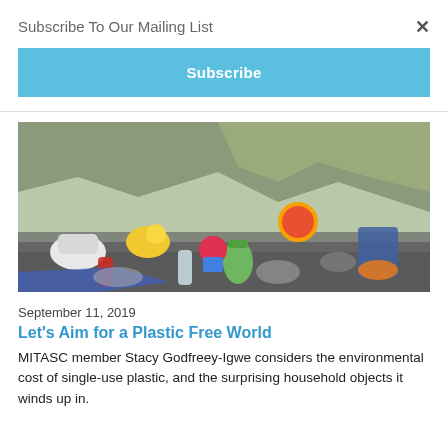Subscribe To Our Mailing List
×
Subscribe
[Figure (photo): A pile of plastic waste and household objects scattered on a rocky shoreline with cliffs in the background.]
September 11, 2019
Let's Aim for a Plastic Free World
MITASC member Stacy Godfreey-Igwe considers the environmental cost of single-use plastic, and the surprising household objects it winds up in.